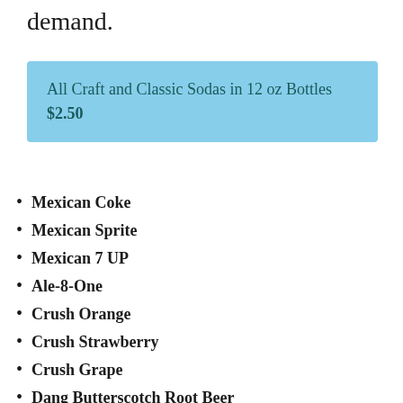demand.
All Craft and Classic Sodas in 12 oz Bottles $2.50
Mexican Coke
Mexican Sprite
Mexican 7 UP
Ale-8-One
Crush Orange
Crush Strawberry
Crush Grape
Dang Butterscotch Root Beer
Dang Red Cream Soda
Frostie Root Beer
Frostie Vanilla Root Beer
Green River